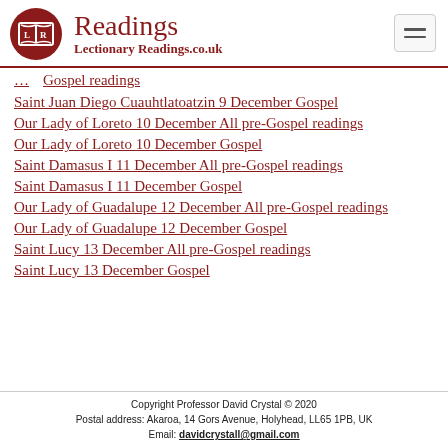Readings — LectionaryReadings.co.uk
Gospel readings
Saint Juan Diego Cuauhtlatoatzin 9 December Gospel
Our Lady of Loreto 10 December All pre-Gospel readings
Our Lady of Loreto 10 December Gospel
Saint Damasus I 11 December All pre-Gospel readings
Saint Damasus I 11 December Gospel
Our Lady of Guadalupe 12 December All pre-Gospel readings
Our Lady of Guadalupe 12 December Gospel
Saint Lucy 13 December All pre-Gospel readings
Saint Lucy 13 December Gospel
Copyright Professor David Crystal © 2020
Postal address: Akaroa, 14 Gors Avenue, Holyhead, LL65 1PB, UK
Email: davidcrystall@gmail.com